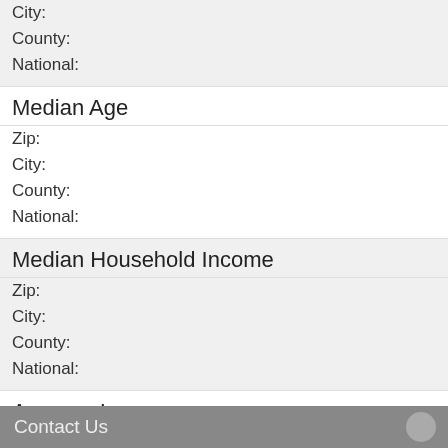City:
County:
National:
Median Age
Zip:
City:
County:
National:
Median Household Income
Zip:
City:
County:
National:
Average Income
Zip:
City:
County:
National:
Contact Us